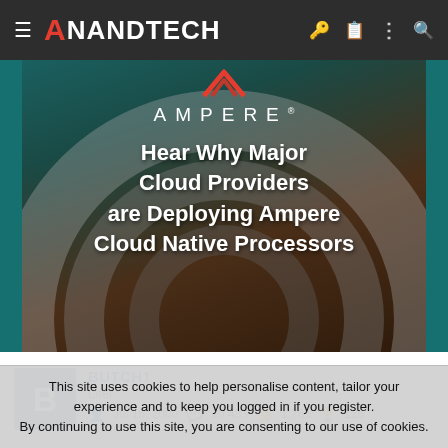AnandTech
[Figure (photo): Ampere promotional banner with text 'Hear Why Major Cloud Providers are Deploying Ampere Cloud Native Processors' on a dark teal/brown background with decorative arch]
BUTCH1
Lifer
Jul 15, 2000  20,433  1,765  126
This site uses cookies to help personalise content, tailor your experience and to keep you logged in if you register.
By continuing to use this site, you are consenting to our use of cookies.